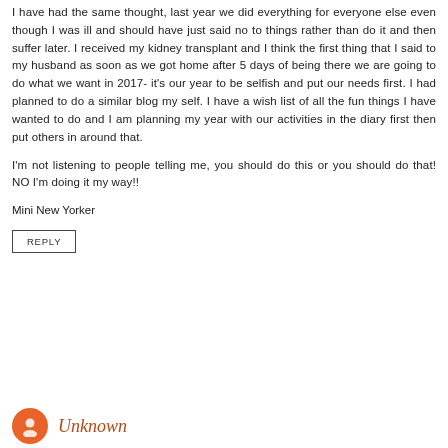I have had the same thought, last year we did everything for everyone else even though I was ill and should have just said no to things rather than do it and then suffer later. I received my kidney transplant and I think the first thing that I said to my husband as soon as we got home after 5 days of being there we are going to do what we want in 2017- it's our year to be selfish and put our needs first. I had planned to do a similar blog my self. I have a wish list of all the fun things I have wanted to do and I am planning my year with our activities in the diary first then put others in around that.
I'm not listening to people telling me, you should do this or you should do that! NO I'm doing it my way!!
Mini New Yorker
REPLY
Unknown